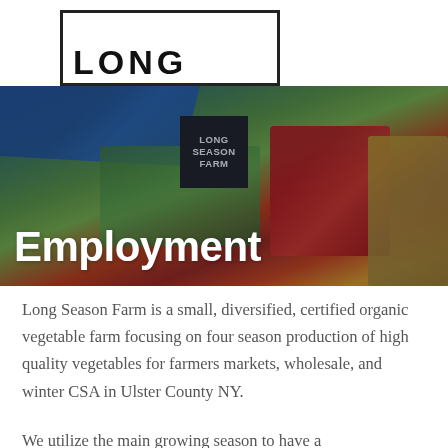[Figure (photo): Logo area with 'LONG' text inside a rectangular border box at the top of the page]
[Figure (photo): Hero banner photograph of a farmers market stand showing vegetables including red produce, greens, and other crops under a blue tent, with a 'LONG SEASON FARM' sign visible, overlaid with the title 'Employment' in large bold white text]
Long Season Farm is a small, diversified, certified organic vegetable farm focusing on four season production of high quality vegetables for farmers markets, wholesale, and winter CSA in Ulster County NY.
We utilize the main growing season to have a